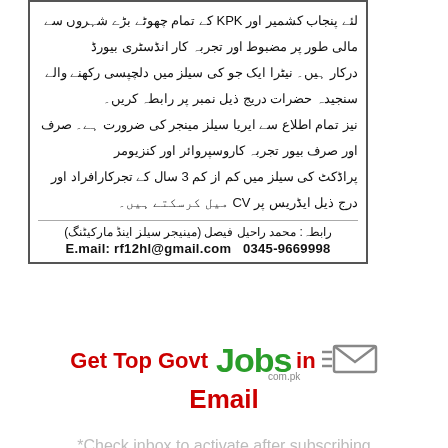Urdu job advertisement text for Punjab, Kashmir and KPK cities for industry dealers/distributors. Contact: Muhammad Raheel Faisal (Manager Sales and Marketing). E.mail: rf12hl@gmail.com  0345-9669998
Get Top Govt Jobs in Email
*Check inbox to activate after subscribing
Email here